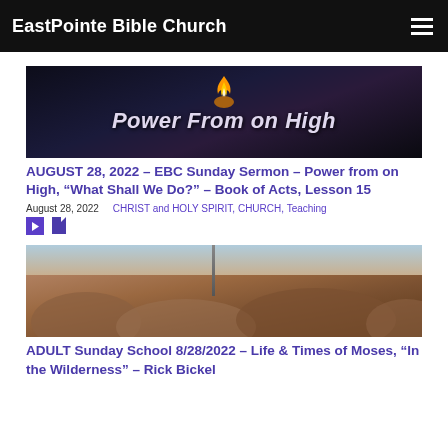EastPointe Bible Church
[Figure (screenshot): Banner image with dark blue/purple background showing flames and text 'Power From on High' in white italic font]
AUGUST 28, 2022 – EBC Sunday Sermon – Power from on High, “What Shall We Do?” – Book of Acts, Lesson 15
August 28, 2022   CHRIST and HOLY SPIRIT, CHURCH, Teaching
[Figure (screenshot): Photograph of rocky desert/mountain terrain with large boulders and a pole or post visible, under a light sky]
ADULT Sunday School 8/28/2022 – Life & Times of Moses, “In the Wilderness” – Rick Bickel